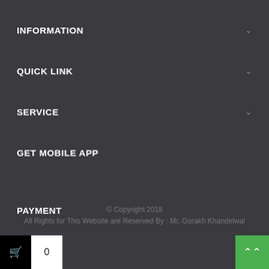INFORMATION
QUICK LINK
SERVICE
GET MOBILE APP
PAYMENT
© Copyright 2018
All Rights for This Website are Reserved By : Mr. Gorakh Khandelwal